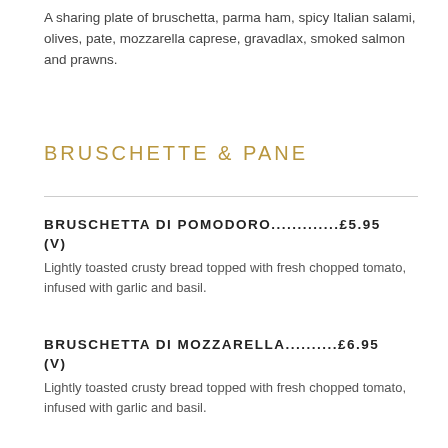A sharing plate of bruschetta, parma ham, spicy Italian salami, olives, pate, mozzarella caprese, gravadlax, smoked salmon and prawns.
BRUSCHETTE & PANE
BRUSCHETTA DI POMODORO...............£5.95 (V)
Lightly toasted crusty bread topped with fresh chopped tomato, infused with garlic and basil.
BRUSCHETTA DI MOZZARELLA............£6.95 (V)
Lightly toasted crusty bread topped with fresh chopped tomato, infused with garlic and basil.